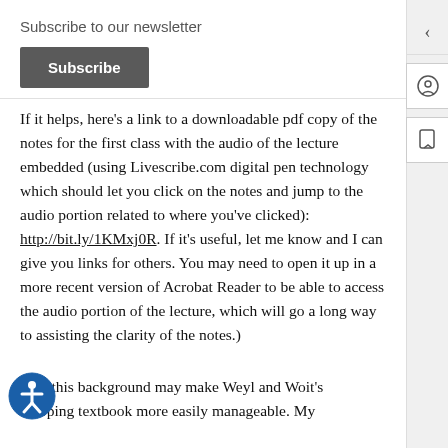Subscribe to our newsletter
Subscribe
If it helps, here's a link to a downloadable pdf copy of the notes for the first class with the audio of the lecture embedded (using Livescribe.com digital pen technology which should let you click on the notes and jump to the audio portion related to where you've clicked): http://bit.ly/1KMxj0R. If it's useful, let me know and I can give you links for others. You may need to open it up in a more recent version of Acrobat Reader to be able to access the audio portion of the lecture, which will go a long way to assisting the clarity of the notes.)
ving this background may make Weyl and Woit's veloping textbook more easily manageable. My